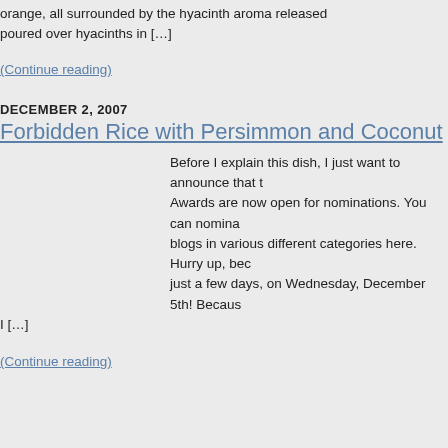orange, all surrounded by the hyacinth aroma released poured over hyacinths in [...]
(Continue reading)
DECEMBER 2, 2007
Forbidden Rice with Persimmon and Coconut
Before I explain this dish, I just want to announce that the Awards are now open for nominations. You can nominate blogs in various different categories here. Hurry up, because just a few days, on Wednesday, December 5th! Because I [...]
(Continue reading)